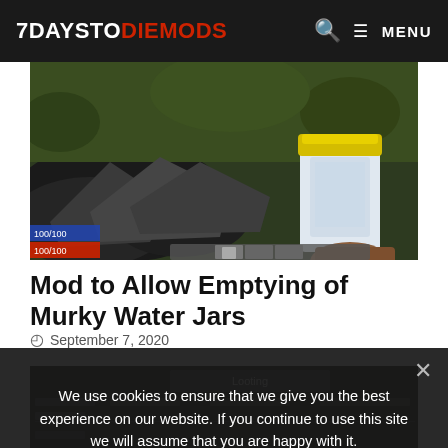7DAYSTODIEMODS — MENU
[Figure (screenshot): 7 Days to Die game screenshot showing a character holding a large jar with a yellow lid, with rocky terrain and vegetation in the background. Game HUD visible with 100/100 indicators in bottom left.]
Mod to Allow Emptying of Murky Water Jars
September 7, 2020
[Figure (screenshot): Partial 7 Days to Die game screenshot showing a 'Looting' interface panel at the top, with game UI elements visible.]
We use cookies to ensure that we give you the best experience on our website. If you continue to use this site we will assume that you are happy with it.